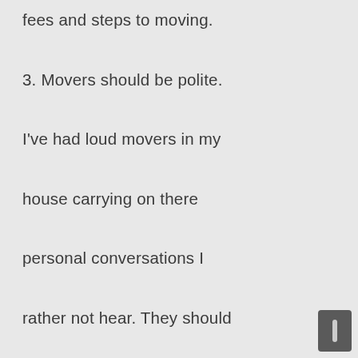fees and steps to moving.
3. Movers should be polite. I've had loud movers in my house carrying on there personal conversations I rather not hear. They should always smell nice. Understandably, they sweat while moving heavy things sometimes in warm conditions but they should not have an offensive odor.